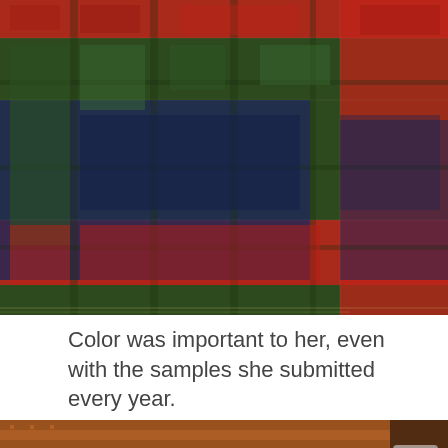[Figure (photo): Close-up photograph of plaid woven textile fabric with red, dark green, and navy blue checkered pattern]
Color was important to her, even with the samples she submitted every year.
[Figure (photo): Close-up photograph of woven fabric with brown/orange and rust colored threads, partially visible at bottom of page]